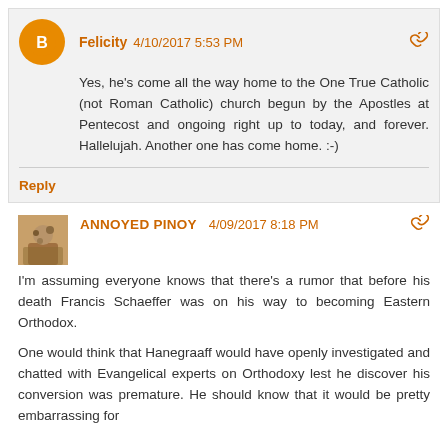Felicity 4/10/2017 5:53 PM
Yes, he's come all the way home to the One True Catholic (not Roman Catholic) church begun by the Apostles at Pentecost and ongoing right up to today, and forever. Hallelujah. Another one has come home. :-)
Reply
ANNOYED PINOY 4/09/2017 8:18 PM
I'm assuming everyone knows that there's a rumor that before his death Francis Schaeffer was on his way to becoming Eastern Orthodox.

One would think that Hanegraaff would have openly investigated and chatted with Evangelical experts on Orthodoxy lest he discover his conversion was premature. He should know that it would be pretty embarrassing for